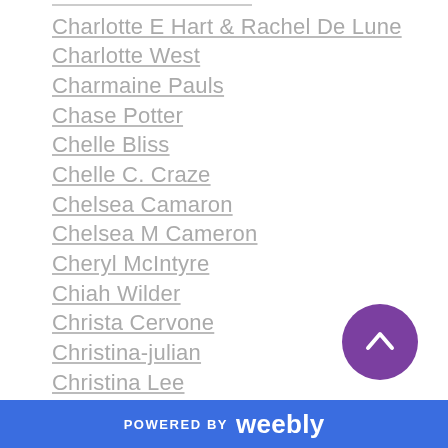Charlotte E Hart & Rachel De Lune
Charlotte West
Charmaine Pauls
Chase Potter
Chelle Bliss
Chelle C. Craze
Chelsea Camaron
Chelsea M Cameron
Cheryl McIntyre
Chiah Wilder
Christa Cervone
Christina-julian
Christina Lee
Christina Lynn Lambert
C.J. McKella
Claire Adams
POWERED BY weebly